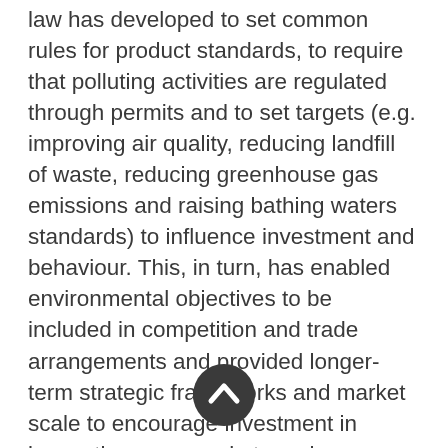law has developed to set common rules for product standards, to require that polluting activities are regulated through permits and to set targets (e.g. improving air quality, reducing landfill of waste, reducing greenhouse gas emissions and raising bathing waters standards) to influence investment and behaviour. This, in turn, has enabled environmental objectives to be included in competition and trade arrangements and provided longer-term strategic frameworks and market scale to encourage investment in innovation, new markets and technologies, and the generation of employment and economic growth. The European 7th Environment Action Programme is currently guiding EU environment policy for the period to 2020. It focuses on the protection, conservation and enhancement of the EU's natural
[Figure (other): A circular dark grey scroll-to-top button with a white upward chevron arrow, overlaid on the text.]